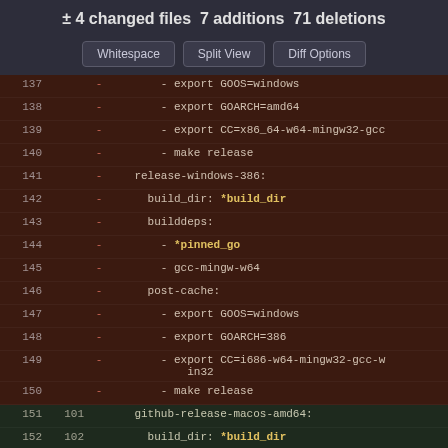± 4 changed files 7 additions 71 deletions
[Figure (screenshot): GitHub diff view buttons: Whitespace, Split View, Diff Options]
| old_line | new_line | sign | code |
| --- | --- | --- | --- |
| 137 |  | − |         - export GOOS=windows |
| 138 |  | − |         - export GOARCH=amd64 |
| 139 |  | − |         - export CC=x86_64-w64-mingw32-gcc |
| 140 |  | − |         - make release |
| 141 |  | − |     release-windows-386: |
| 142 |  | − |       build_dir: *build_dir |
| 143 |  | − |       builddeps: |
| 144 |  | − |         - *pinned_go |
| 145 |  | − |         - gcc-mingw-w64 |
| 146 |  | − |       post-cache: |
| 147 |  | − |         - export GOOS=windows |
| 148 |  | − |         - export GOARCH=386 |
| 149 |  | − |         - export CC=i686-w64-mingw32-gcc-win32 |
| 150 |  | − |         - make release |
| 151 | 101 |  |     github-release-macos-amd64: |
| 152 | 102 |  |       build_dir: *build_dir |
| 153 | 103 |  |       builddeps: |